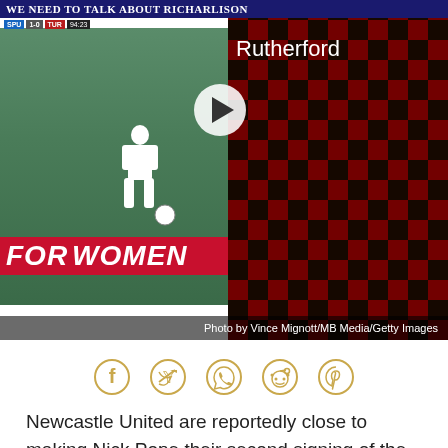[Figure (screenshot): Sports article page showing a football video thumbnail on the left with title 'We Need To Talk About Richarlison' and a play button overlay, alongside a red/black checkered jersey on the right. Caption reads 'Rutherford'. Photo credit: Photo by Vince Mignott/MB Media/Getty Images]
Photo by Vince Mignott/MB Media/Getty Images
[Figure (infographic): Social media share icons: Facebook, Twitter, WhatsApp, Reddit, Pinterest in golden/tan color]
Newcastle United are reportedly close to making Nick Pope their second signing of the summer.
The Magpies made Matt Targett a permanent Toon player at the start of the month, and now Pope could join him at St James' Park. He's been pictured entering the ground